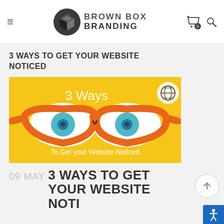Brown Box Branding – navigation header with logo, cart, and search
3 WAYS TO GET YOUR WEBSITE NOTICED
[Figure (illustration): Yellow background illustration with orange-rimmed glasses showing two eyes with blue irises. Text '3 Ways' at top and 'To Get your Website Noticed' at bottom.]
09 MAY 3 WAYS TO GET YOUR WEBSITE NOTICED